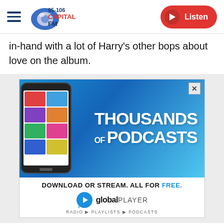95-106 Capital FM | Listen
in-hand with a lot of Harry's other bops about love on the album.
[Figure (infographic): Global Player advertisement: 'Thousands of Podcasts – Download or stream. All for free.' with phone graphic and Global Player logo]
The track is infused with an 80s inspiration, thanks to the